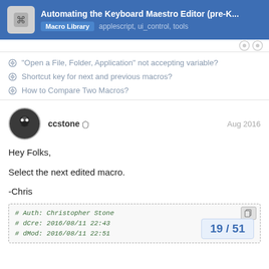Automating the Keyboard Maestro Editor (pre-K... | Macro Library | applescript, ui_control, tools
"Open a File, Folder, Application" not accepting variable?
Shortcut key for next and previous macros?
How to Compare Two Macros?
ccstone | Aug 2016
Hey Folks,

Select the next edited macro.

-Chris
[Figure (screenshot): Code block showing AppleScript comments: # Auth: Christopher Stone, # dCre: 2016/08/11 22:43, # dMod: 2016/08/11 22:51]
19 / 51